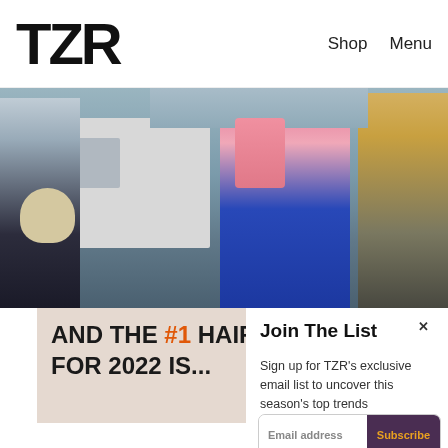TZR  Shop  Menu
[Figure (photo): Street fashion photo showing people walking on an urban sidewalk; a woman in a blue coat in the center, another woman with a fluffy dog on the left, a white van, and a person in a yellow/tan jacket on the right]
AND THE #1 HAIRCUT FOR 2022 IS...
[Figure (photo): Thumbnail portrait of a blonde woman]
Join The List
Sign up for TZR's exclusive email list to uncover this season's top trends
Email address  Subscribe